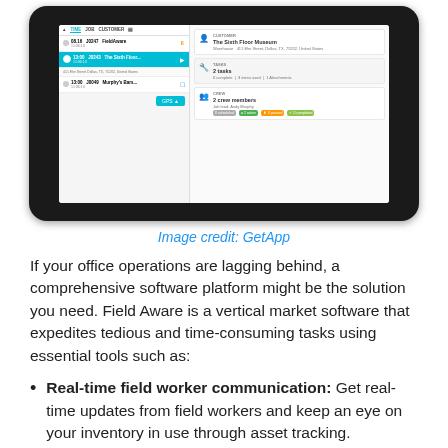[Figure (screenshot): A tablet device showing a field service management application (FieldAware). The left panel shows a list of jobs with times and job numbers. The right panel shows details for 'The Sixth Floor Museum' including customer address, 2 tasks, and 2 crew members with job lead Andy Murphy.]
Image credit: GetApp
If your office operations are lagging behind, a comprehensive software platform might be the solution you need. Field Aware is a vertical market software that expedites tedious and time-consuming tasks using essential tools such as:
Real-time field worker communication: Get real-time updates from field workers and keep an eye on your inventory in use through asset tracking.
Detailed business reporting: Use twelve standard